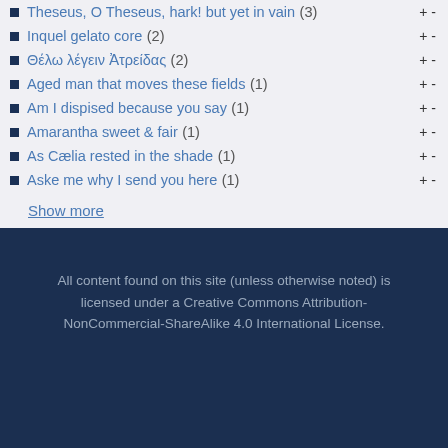Theseus, O Theseus, hark! but yet in vain (3)
Inquel gelato core (2)
Θέλω λέγειν Ἀτρείδας (2)
Aged man that moves these fields (1)
Am I dispised because you say (1)
Amarantha sweet & fair (1)
As Cælia rested in the shade (1)
Aske me why I send you here (1)
Show more
All content found on this site (unless otherwise noted) is licensed under a Creative Commons Attribution-NonCommercial-ShareAlike 4.0 International License.